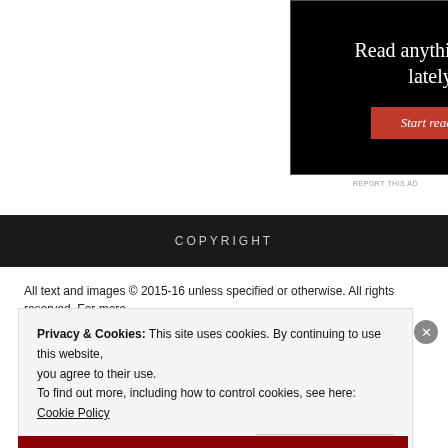[Figure (screenshot): Advertisement banner with black background showing 'Read anything great lately?' text and a red 'Start reading' button]
REPORT THIS AD
COPYRIGHT
All text and images © 2015-16 unless specified or otherwise. All rights reserved. For more
Privacy & Cookies: This site uses cookies. By continuing to use this website, you agree to their use.
To find out more, including how to control cookies, see here: Cookie Policy
Close and accept